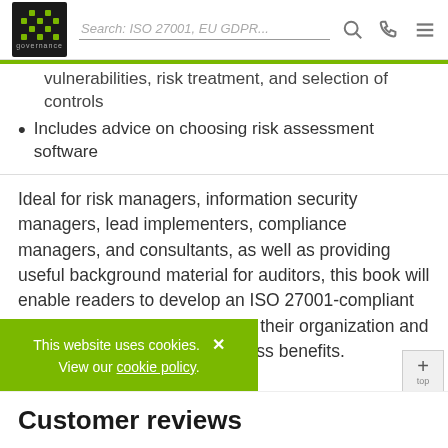IT Governance | Search: ISO 27001, EU GDPR...
vulnerabilities, risk treatment, and selection of controls
Includes advice on choosing risk assessment software
Ideal for risk managers, information security managers, lead implementers, compliance managers, and consultants, as well as providing useful background material for auditors, this book will enable readers to develop an ISO 27001-compliant risk assessment framework for their organization and deliver real, bottom-line business benefits.
This website uses cookies. View our cookie policy.
Customer reviews